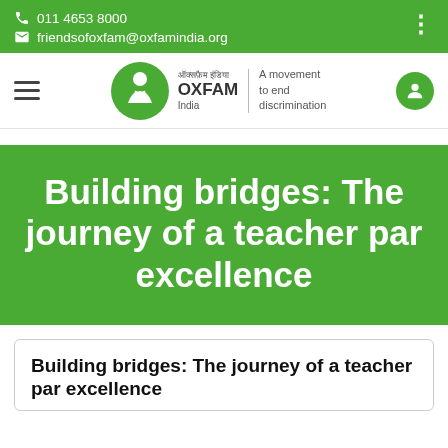011 4653 8000
friendsofoxfam@oxfamindia.org
[Figure (logo): Oxfam India logo with circular emblem, Hindi text, 'OXFAM India', vertical divider, and tagline 'A movement to end discrimination']
Building bridges: The journey of a teacher par excellence
Building bridges: The journey of a teacher par excellence